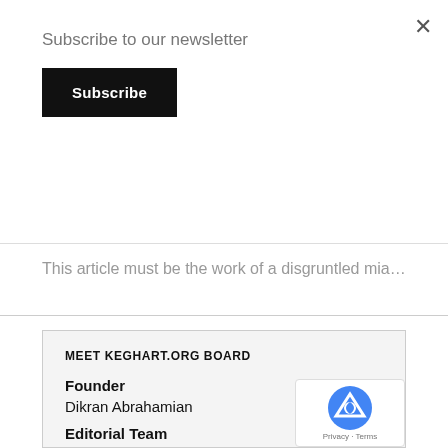×
Subscribe to our newsletter
Subscribe
This article must be the work of a disgruntled mia…
MEET KEGHART.ORG BOARD
Founder
Dikran Abrahamian
Editorial Team
Khajag Aghazarian Editor-in-chief
Vazgen Gharibyan
Minas Kojayan